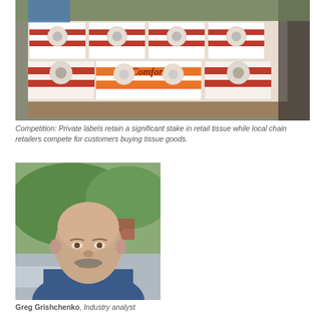[Figure (photo): Large pallet stacked high with multi-pack rolls of toilet tissue (Comfort brand), seen in a retail or warehouse setting.]
Competition: Private labels retain a significant stake in retail tissue while local chain retailers compete for customers buying tissue goods.
[Figure (photo): Portrait photo of a middle-aged bald man with a moustache, wearing a blue shirt, with greenery and a car visible in the background.]
Greg Grishchenko, Industry analyst